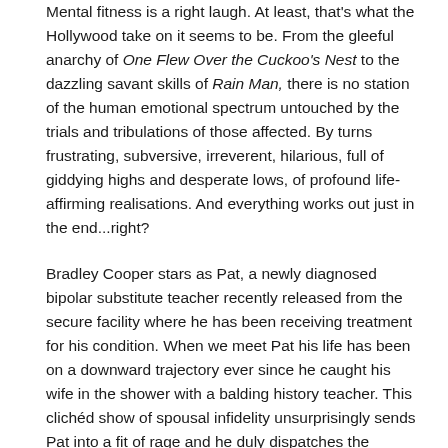Mental fitness is a right laugh. At least, that's what the Hollywood take on it seems to be. From the gleeful anarchy of One Flew Over the Cuckoo's Nest to the dazzling savant skills of Rain Man, there is no station of the human emotional spectrum untouched by the trials and tribulations of those affected. By turns frustrating, subversive, irreverent, hilarious, full of giddying highs and desperate lows, of profound life-affirming realisations. And everything works out just in the end...right?
Bradley Cooper stars as Pat, a newly diagnosed bipolar substitute teacher recently released from the secure facility where he has been receiving treatment for his condition. When we meet Pat his life has been on a downward trajectory ever since he caught his wife in the shower with a balding history teacher. This clichéd show of spousal infidelity unsurprisingly sends Pat into a fit of rage and he duly dispatches the history teacher to his own personal Waterloo before ending up arrested and